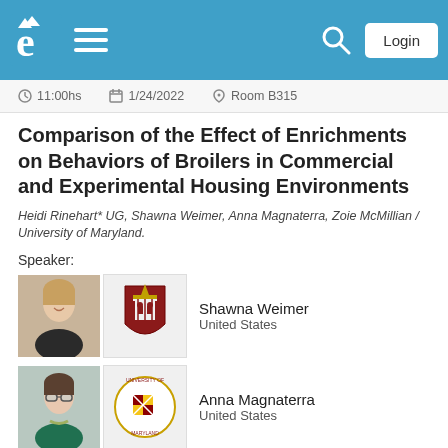Navigation bar with logo, hamburger menu, search, and Login button
11:00hs  1/24/2022  Room B315 (partially visible, cut off at top)
Comparison of the Effect of Enrichments on Behaviors of Broilers in Commercial and Experimental Housing Environments
Heidi Rinehart* UG, Shawna Weimer, Anna Magnaterra, Zoie McMillian / University of Maryland.
Speaker:
[Figure (photo): Photo of Shawna Weimer and University of Maryland logo]
Shawna Weimer
United States
[Figure (photo): Photo of Anna Magnaterra and University of Maryland logo]
Anna Magnaterra
United States
11:00hs  1/24/2022  Room B311
Effects of Syngenta Enogen® corn on broiler breast objective and subjective color and stability